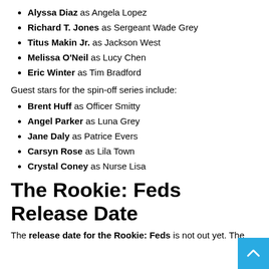Alyssa Diaz as Angela Lopez
Richard T. Jones as Sergeant Wade Grey
Titus Makin Jr. as Jackson West
Melissa O'Neil as Lucy Chen
Eric Winter as Tim Bradford
Guest stars for the spin-off series include:
Brent Huff as Officer Smitty
Angel Parker as Luna Grey
Jane Daly as Patrice Evers
Carsyn Rose as Lila Town
Crystal Coney as Nurse Lisa
The Rookie: Feds Release Date
The release date for the Rookie: Feds is not out yet. The